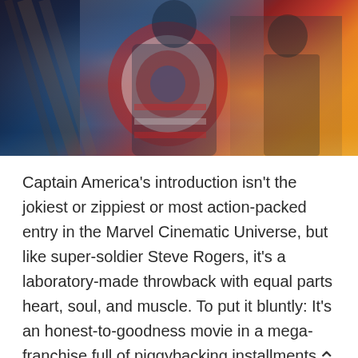[Figure (photo): Movie promotional image for Captain America showing a costumed superhero figure with shield in the foreground and a military officer in uniform in the background, against a warm orange/red gradient backdrop]
Captain America's introduction isn't the jokiest or zippiest or most action-packed entry in the Marvel Cinematic Universe, but like super-soldier Steve Rogers, it's a laboratory-made throwback with equal parts heart, soul, and muscle. To put it bluntly: It's an honest-to-goodness movie in a mega-franchise full of piggybacking installments.
Captain (Steve Rogers) becomes unfit to work in military service, and then decides to